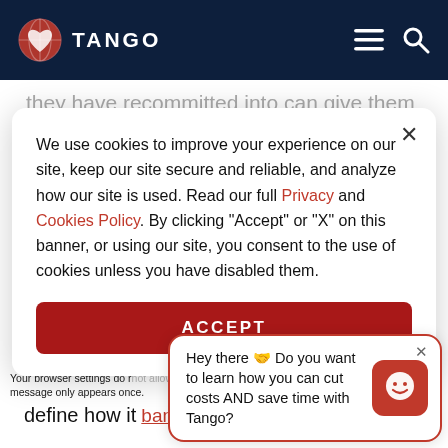TANGO
they need to be productive or attend meetings without interruptions. Maybe their
We use cookies to improve your experience on our site, keep our site secure and reliable, and analyze how our site is used. Read our full Privacy and Cookies Policy. By clicking "Accept" or "X" on this banner, or using our site, you consent to the use of cookies unless you have disabled them.
ACCEPT
if it becomes necessary. This should outline define how it
Hey there 👋 Do you want to learn how you can cut costs AND save time with Tango?
Your browser settings do not allow AdRoll to use cross-site tracking by clicking here. This message only appears once.